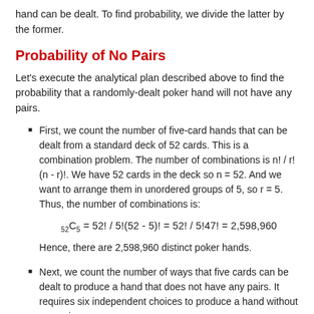hand can be dealt. To find probability, we divide the latter by the former.
Probability of No Pairs
Let's execute the analytical plan described above to find the probability that a randomly-dealt poker hand will not have any pairs.
First, we count the number of five-card hands that can be dealt from a standard deck of 52 cards. This is a combination problem. The number of combinations is n! / r!(n - r)!. We have 52 cards in the deck so n = 52. And we want to arrange them in unordered groups of 5, so r = 5. Thus, the number of combinations is:
Hence, there are 2,598,960 distinct poker hands.
Next, we count the number of ways that five cards can be dealt to produce a hand that does not have any pairs. It requires six independent choices to produce a hand without any pairs:
Choose the rank of each card in the hand. A playing card can have a rank of 2, 3, 4, 5, 6, 7, 8, 9, 10, jack, queen,